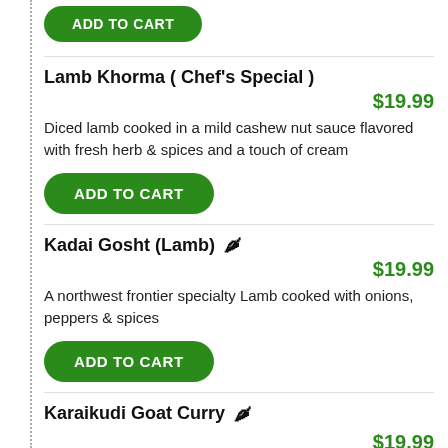ADD TO CART (button, top, partially cropped)
Lamb Khorma ( Chef's Special )
$19.99
Diced lamb cooked in a mild cashew nut sauce flavored with fresh herb & spices and a touch of cream
ADD TO CART
Kadai Gosht (Lamb) 🌶
$19.99
A northwest frontier specialty Lamb cooked with onions, peppers & spices
ADD TO CART
Karaikudi Goat Curry 🌶
$19.99